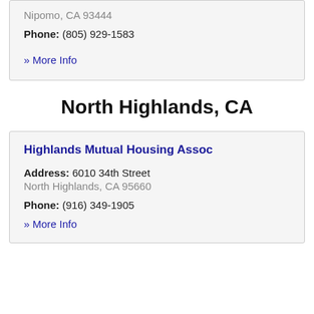Nipomo, CA 93444
Phone: (805) 929-1583
» More Info
North Highlands, CA
Highlands Mutual Housing Assoc
Address: 6010 34th Street
North Highlands, CA 95660
Phone: (916) 349-1905
» More Info